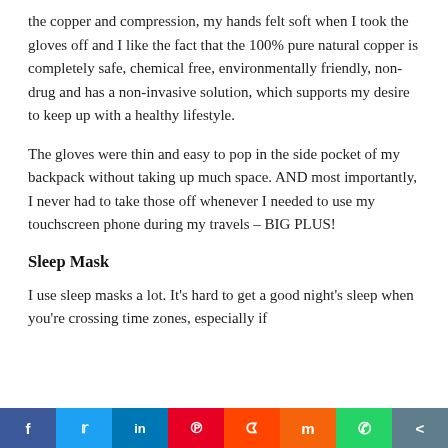the copper and compression, my hands felt soft when I took the gloves off and I like the fact that the 100% pure natural copper is completely safe, chemical free, environmentally friendly, non-drug and has a non-invasive solution, which supports my desire to keep up with a healthy lifestyle.
The gloves were thin and easy to pop in the side pocket of my backpack without taking up much space. AND most importantly, I never had to take those off whenever I needed to use my touchscreen phone during my travels – BIG PLUS!
Sleep Mask
I use sleep masks a lot. It's hard to get a good night's sleep when you're crossing time zones, especially if
f  t  in  p  s  m  (whatsapp)  <